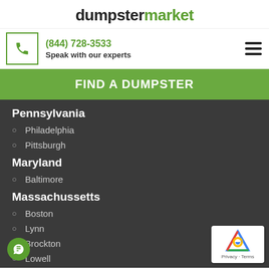dumpstermarket
(844) 728-3533
Speak with our experts
FIND A DUMPSTER
Pennsylvania
Philadelphia
Pittsburgh
Maryland
Baltimore
Massachussetts
Boston
Lynn
Brockton
Lowell
Worcester